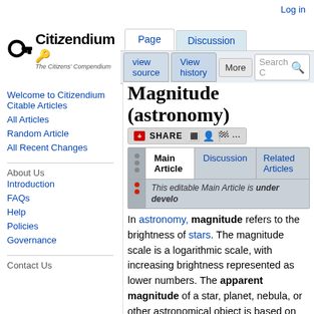Log in
[Figure (logo): Citizendium logo with key icon and tagline 'The Citizens' Compendium']
Page | Discussion | View source | View history | More | Search
Magnitude (astronomy)
[Figure (screenshot): Share bar with social sharing icons]
| Main Article | Discussion | Related Articles |
| --- | --- | --- |
| This editable Main Article is under develo... |  |  |
Welcome to Citizendium
Citable Articles
All Articles
Random Article
All Recent Changes
About Us
Introduction
FAQs
Help
Policies
Governance
Contact Us
In astronomy, magnitude refers to the brightness of stars. The magnitude scale is a logarithmic scale, with increasing brightness represented as lower numbers. The apparent magnitude of a star, planet, nebula, or other astronomical object is based on the